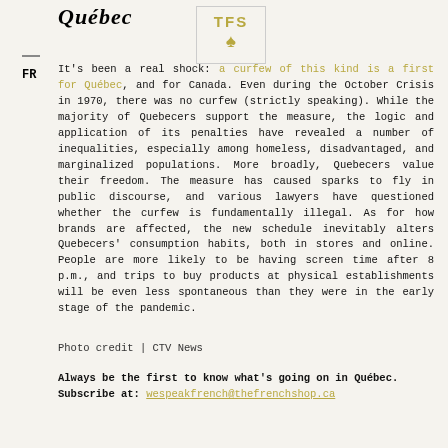Québec
[Figure (logo): TFS logo box with gold TFS text and spade symbol inside a rectangular border]
FR
It's been a real shock: a curfew of this kind is a first for Québec, and for Canada. Even during the October Crisis in 1970, there was no curfew (strictly speaking). While the majority of Quebecers support the measure, the logic and application of its penalties have revealed a number of inequalities, especially among homeless, disadvantaged, and marginalized populations. More broadly, Quebecers value their freedom. The measure has caused sparks to fly in public discourse, and various lawyers have questioned whether the curfew is fundamentally illegal. As for how brands are affected, the new schedule inevitably alters Quebecers' consumption habits, both in stores and online. People are more likely to be having screen time after 8 p.m., and trips to buy products at physical establishments will be even less spontaneous than they were in the early stage of the pandemic.
Photo credit | CTV News
Always be the first to know what's going on in Québec. Subscribe at: wespeakfrench@thefrenchshop.ca